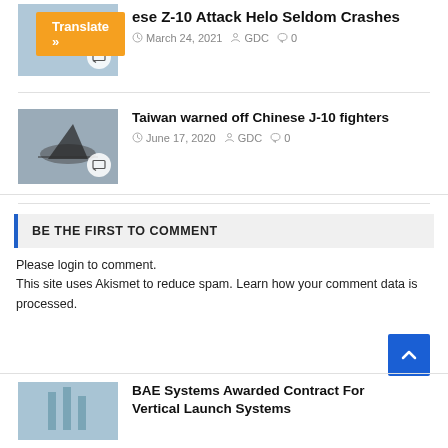ese Z-10 Attack Helo Seldom Crashes
March 24, 2021  GDC  0
[Figure (photo): Thumbnail image of helicopter with translate button overlay]
Taiwan warned off Chinese J-10 fighters
June 17, 2020  GDC  0
[Figure (photo): Thumbnail image of fighter jet]
BE THE FIRST TO COMMENT
Please login to comment.
This site uses Akismet to reduce spam. Learn how your comment data is processed.
BAE Systems Awarded Contract For Vertical Launch Systems
[Figure (photo): Thumbnail image at bottom]